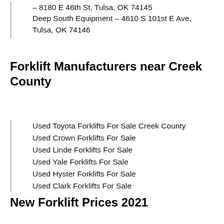– 8180 E 46th St, Tulsa, OK 74145
Deep South Equipment – 4610 S 101st E Ave, Tulsa, OK 74146
Forklift Manufacturers near Creek County
Used Toyota Forklifts For Sale Creek County
Used Crown Forklifts For Sale
Used Linde Forklifts For Sale
Used Yale Forklifts For Sale
Used Hyster Forklifts For Sale
Used Clark Forklifts For Sale
New Forklift Prices 2021